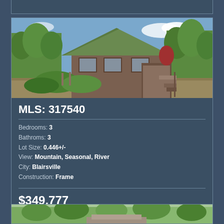[Figure (photo): Exterior photo of a cabin-style home with green metal roof, surrounded by lush green trees and vegetation, with a wooden deck and exterior staircase. Gravel driveway visible.]
MLS: 317540
Bedrooms: 3
Bathroms: 3
Lot Size: 0.446+/-
View: Mountain, Seasonal, River
City: Blairsville
Construction: Frame
$349,777
[Figure (photo): Partial exterior photo of another property, showing trees and what appears to be a building structure, cropped at bottom of page.]